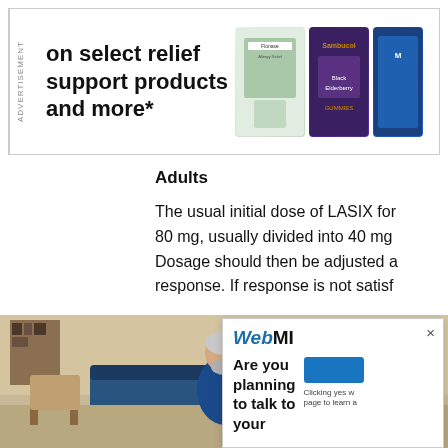[Figure (photo): Advertisement banner with text 'on select relief support products and more*' and images of health supplement products including gummy vitamins]
Adults
The usual initial dose of LASIX for 80 mg, usually divided into 40 mg Dosage should then be adjusted a response. If response is not satisf
[Figure (photo): Older bearded man in blue shirt working on a bicycle wheel indoors]
[Figure (screenshot): WebMD popup overlay asking 'Are you planning to talk to your' with a blue button and text 'Clicking yes w... page to learn a...']